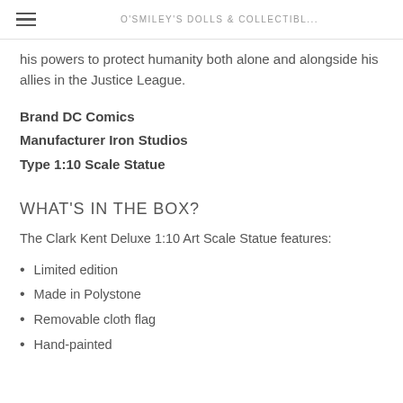O'SMILEY'S DOLLS & COLLECTIBL...
his powers to protect humanity both alone and alongside his allies in the Justice League.
Brand DC Comics
Manufacturer Iron Studios
Type 1:10 Scale Statue
WHAT'S IN THE BOX?
The Clark Kent Deluxe 1:10 Art Scale Statue features:
Limited edition
Made in Polystone
Removable cloth flag
Hand-painted